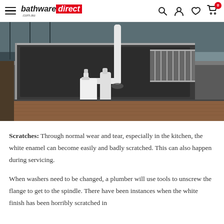bathware direct .com.au
[Figure (photo): Kitchen sink countertop scene with a large undermount sink basin, white tall faucet/tap, two white bottles (soap dispenser and lotion bottle), and a wire drying rack on the right side. The countertop is dark grey/graphite and the cabinet below is wood-grain brown.]
Scratches: Through normal wear and tear, especially in the kitchen, the white enamel can become easily and badly scratched. This can also happen during servicing.
When washers need to be changed, a plumber will use tools to unscrew the flange to get to the spindle. There have been instances when the white finish has been horribly scratched in